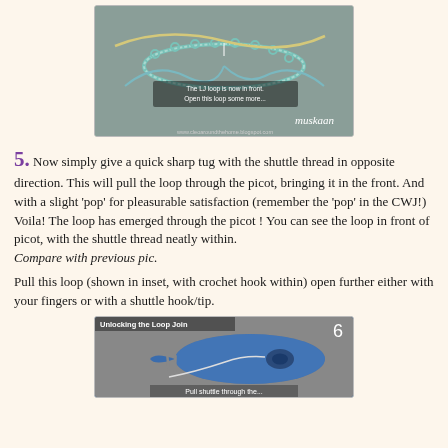[Figure (photo): Close-up photo of tatting lacework showing loop join technique, with annotation text 'The LJ loop is now in front. Open this loop some more...' and watermark 'muskaan' and URL 'www.cleoaroundthehome.blogspot.com']
5. Now simply give a quick sharp tug with the shuttle thread in opposite direction. This will pull the loop through the picot, bringing it in the front. And with a slight 'pop' for pleasurable satisfaction (remember the 'pop' in the CWJ!) Voila! The loop has emerged through the picot ! You can see the loop in front of picot, with the shuttle thread neatly within. Compare with previous pic.
Pull this loop (shown in inset, with crochet hook within) open further either with your fingers or with a shuttle hook/tip.
[Figure (photo): Photo of a blue tatting shuttle with crochet hook inserted through the loop join, labeled 'Unlocking the Loop Join' with number 6, caption text 'Pull shuttle through the...']